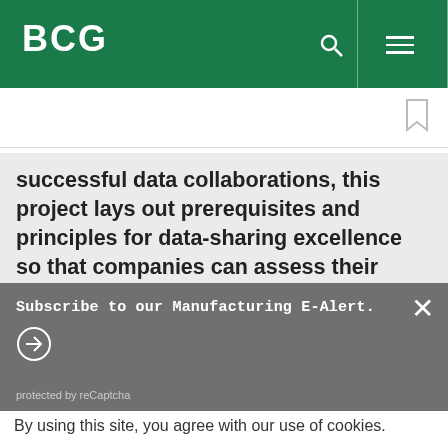BCG
successful data collaborations, this project lays out prerequisites and principles for data-sharing excellence so that companies can assess their readiness and highlight
Subscribe to our Manufacturing E-Alert.
protected by reCaptcha
By using this site, you agree with our use of cookies.
I consent to cookies
Want to know more?
Read our Cookie Policy